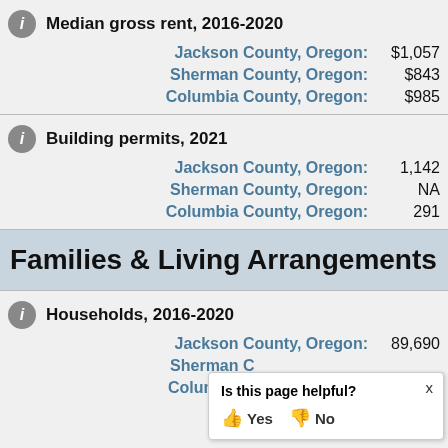Median gross rent, 2016-2020
Jackson County, Oregon: $1,057
Sherman County, Oregon: $843
Columbia County, Oregon: $985
Building permits, 2021
Jackson County, Oregon: 1,142
Sherman County, Oregon: NA
Columbia County, Oregon: 291
Families & Living Arrangements
Households, 2016-2020
Jackson County, Oregon: 89,690
Sherman County, Oregon: (partially obscured)
Columbia County, Oregon: (partially obscured)
Is this page helpful? Yes No